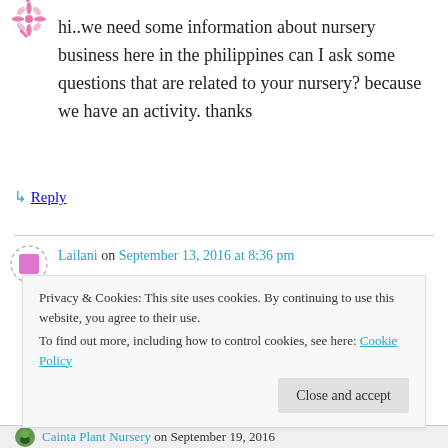[Figure (illustration): Decorative pink snowflake/flower avatar icon]
hi..we need some information about nursery business here in the philippines can I ask some questions that are related to your nursery? because we have an activity. thanks
↳ Reply
[Figure (illustration): Pink square avatar with dashed border]
Lailani on September 13, 2016 at 8:36 pm
hello!can I have your plants varieties that easily grow from cutting?and how much do you sell per
Privacy & Cookies: This site uses cookies. By continuing to use this website, you agree to their use.
To find out more, including how to control cookies, see here: Cookie Policy
Close and accept
Cainta Plant Nursery on September 19, 2016